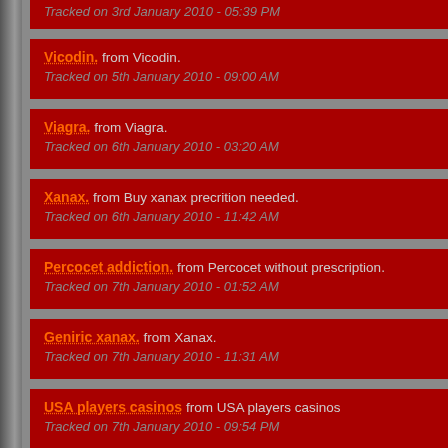Tracked on 3rd January 2010 - 05:39 PM
Vicodin. from Vicodin.
Tracked on 5th January 2010 - 09:00 AM
Viagra. from Viagra.
Tracked on 6th January 2010 - 03:20 AM
Xanax. from Buy xanax precrition needed.
Tracked on 6th January 2010 - 11:42 AM
Percocet addiction. from Percocet without prescription.
Tracked on 7th January 2010 - 01:52 AM
Geniric xanax. from Xanax.
Tracked on 7th January 2010 - 11:31 AM
USA players casinos from USA players casinos
Tracked on 7th January 2010 - 09:54 PM